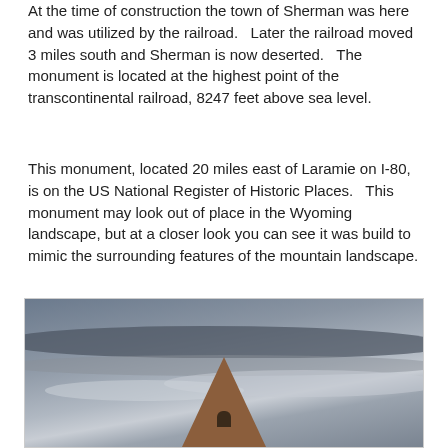At the time of construction the town of Sherman was here and was utilized by the railroad.   Later the railroad moved 3 miles south and Sherman is now deserted.   The monument is located at the highest point of the transcontinental railroad, 8247 feet above sea level.
This monument, located 20 miles east of Laramie on I-80, is on the US National Register of Historic Places.   This monument may look out of place in the Wyoming landscape, but at a closer look you can see it was build to mimic the surrounding features of the mountain landscape.
[Figure (photo): Photograph of a stone pyramid monument with a small arched window/opening near its base, set against a dramatic cloudy sky with dark grey and lighter cloud layers. The monument appears to be built of reddish-brown stone and rises into the overcast sky.]